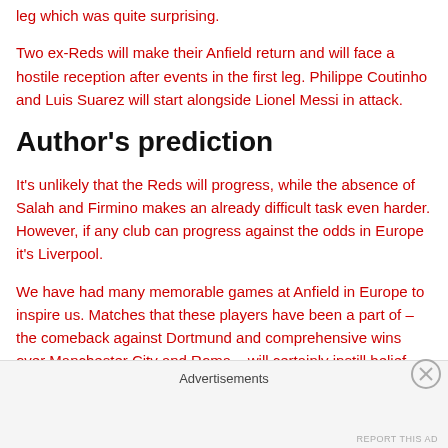leg which was quite surprising.
Two ex-Reds will make their Anfield return and will face a hostile reception after events in the first leg. Philippe Coutinho and Luis Suarez will start alongside Lionel Messi in attack.
Author's prediction
It's unlikely that the Reds will progress, while the absence of Salah and Firmino makes an already difficult task even harder. However, if any club can progress against the odds in Europe it's Liverpool.
We have had many memorable games at Anfield in Europe to inspire us. Matches that these players have been a part of – the comeback against Dortmund and comprehensive wins over Manchester City and Roma – will certainly instill belief that
Advertisements